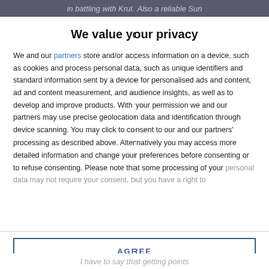in battling with Krul. Also a reliable Sun
We value your privacy
We and our partners store and/or access information on a device, such as cookies and process personal data, such as unique identifiers and standard information sent by a device for personalised ads and content, ad and content measurement, and audience insights, as well as to develop and improve products. With your permission we and our partners may use precise geolocation data and identification through device scanning. You may click to consent to our and our partners' processing as described above. Alternatively you may access more detailed information and change your preferences before consenting or to refuse consenting. Please note that some processing of your personal data may not require your consent, but you have a right to
AGREE
MORE OPTIONS
I have to say that getting points